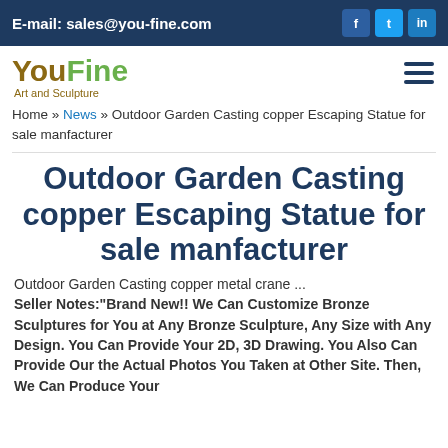E-mail: sales@you-fine.com
[Figure (logo): YouFine Art and Sculpture logo with hamburger menu icon]
Home » News » Outdoor Garden Casting copper Escaping Statue for sale manfacturer
Outdoor Garden Casting copper Escaping Statue for sale manfacturer
Outdoor Garden Casting copper metal crane ... Seller Notes:"Brand New!! We Can Customize Bronze Sculptures for You at Any Bronze Sculpture, Any Size with Any Design. You Can Provide Your 2D, 3D Drawing. You Also Can Provide Our the Actual Photos You Taken at Other Site. Then, We Can Produce Your